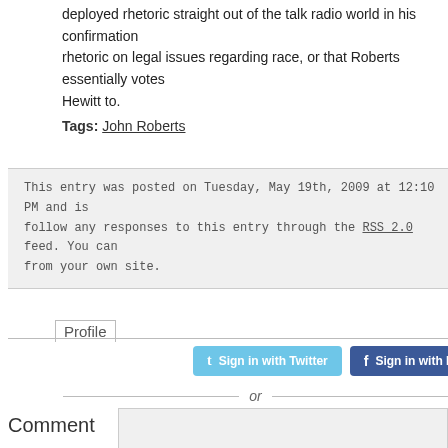deployed rhetoric straight out of the talk radio world in his confirmation rhetoric on legal issues regarding race, or that Roberts essentially votes Hewitt to.
Tags: John Roberts
This entry was posted on Tuesday, May 19th, 2009 at 12:10 PM and is follow any responses to this entry through the RSS 2.0 feed. You can from your own site.
Profile
Sign in with Twitter
Sign in with Facebook
or
Comment
Name
Email